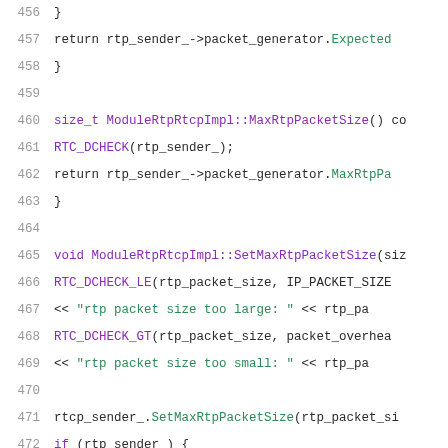[Figure (screenshot): Source code screenshot showing C++ code lines 456-476 with syntax highlighting. Purple for keywords/types, green for method names and strings, gray for line numbers.]